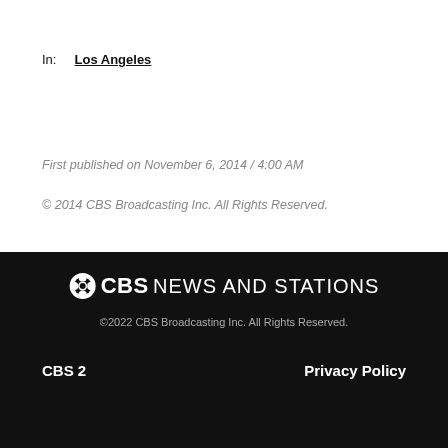In:   Los Angeles
First published on November 6, 2014 / 4:00 AM
© 2014 CBS Broadcasting Inc. All Rights Reserved.
[Figure (logo): CBS News and Stations logo with CBS eye symbol followed by bold CBS text and NEWS AND STATIONS text in white on black background]
©2022 CBS Broadcasting Inc. All Rights Reserved.
CBS 2    Privacy Policy